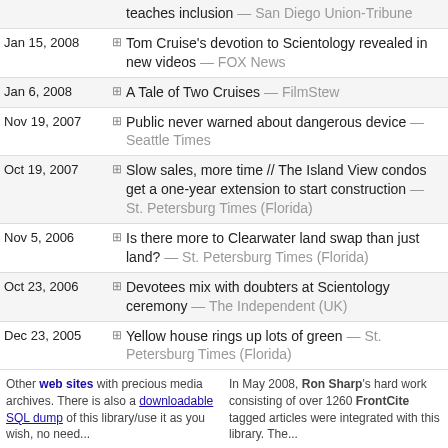teaches inclusion — San Diego Union-Tribune
Jan 15, 2008 — Tom Cruise's devotion to Scientology revealed in new videos — FOX News
Jan 6, 2008 — A Tale of Two Cruises — FilmStew
Nov 19, 2007 — Public never warned about dangerous device — Seattle Times
Oct 19, 2007 — Slow sales, more time // The Island View condos get a one-year extension to start construction — St. Petersburg Times (Florida)
Nov 5, 2006 — Is there more to Clearwater land swap than just land? — St. Petersburg Times (Florida)
Oct 23, 2006 — Devotees mix with doubters at Scientology ceremony — The Independent (UK)
Dec 23, 2005 — Yellow house rings up lots of green — St. Petersburg Times (Florida)
Dec 21, 2005 — New Life, old tricks — Bay Guardian (San Francisco)
Nov 8, 2005 — Cruise dumps sister for veteran publicist — CBC
Page 1 of 4: ⇑ Latest ↑ Later Earlier ↓ Earliest ⇓
Other web sites with precious media archives. There is also a downloadable SQL dump of this library/use it as you wish, no need...
In May 2008, Ron Sharp's hard work consisting of over 1260 FrontCite tagged articles were integrated with this library. The...